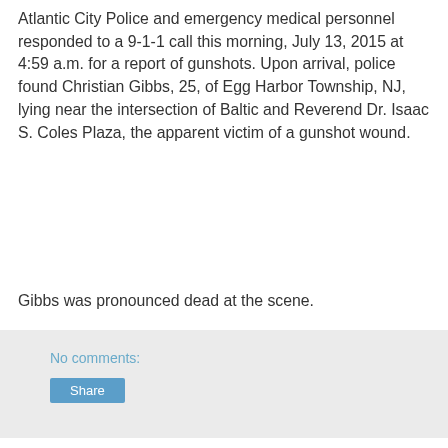Atlantic City Police and emergency medical personnel responded to a 9-1-1 call this morning, July 13, 2015 at 4:59 a.m. for a report of gunshots. Upon arrival, police found Christian Gibbs, 25, of Egg Harbor Township, NJ, lying near the intersection of Baltic and Reverend Dr. Isaac S. Coles Plaza, the apparent victim of a gunshot wound.
Gibbs was pronounced dead at the scene.
No comments:
Share
Sunday, July 12, 2015
Body Found in Atlantic City Alley Identified as Sicklerville Man
[Figure (photo): Partial image showing colorful flashing lights with the word DEATH visible]